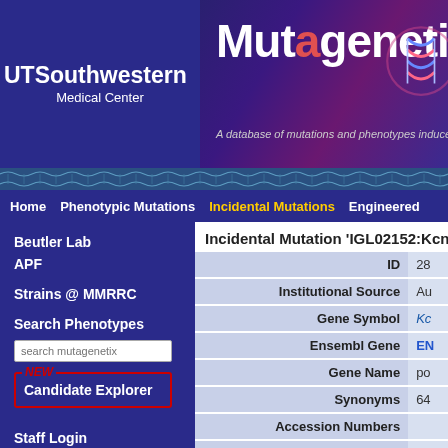[Figure (screenshot): UT Southwestern Medical Center logo with white text on dark blue background]
Mutagenetix
A database of mutations and phenotypes induced b
Home | Phenotypic Mutations | Incidental Mutations | Engineered
Beutler Lab
APF
Strains @ MMRRC
Search Phenotypes
search mutagenetix
NEW Candidate Explorer
Staff Login
Download
Incidental Mutation 'IGL02152:Kcnj1
| Field | Value |
| --- | --- |
| ID | 28 |
| Institutional Source | Au |
| Gene Symbol | Kc |
| Ensembl Gene | EN |
| Gene Name | po |
| Synonyms | 64 |
| Accession Numbers |  |
| Is this an essential gene? | Pr |
| Stock # | IG |
| Quality Score |  |